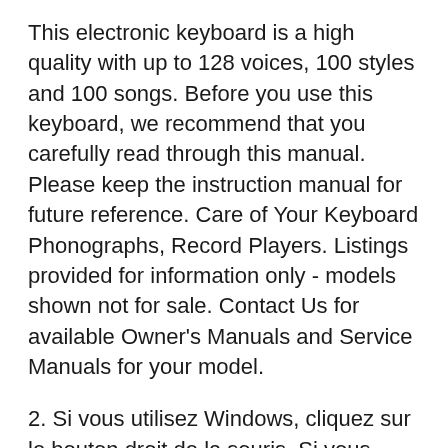This electronic keyboard is a high quality with up to 128 voices, 100 styles and 100 songs. Before you use this keyboard, we recommend that you carefully read through this manual. Please keep the instruction manual for future reference. Care of Your Keyboard Phonographs, Record Players. Listings provided for information only - models shown not for sale. Contact Us for available Owner's Manuals and Service Manuals for your model.
2. Si vous utilisez Windows, cliquez sur le bouton droit de la souris. Si vous travaillez sous Macintosh, maintenez le bouton de la souris enfoncГ©. 3. Dans le menu contextuel, cliquez sur [Enregistrer sous] pour enregistrer le fichier sur votre disque dur. Pour consulter le fichier